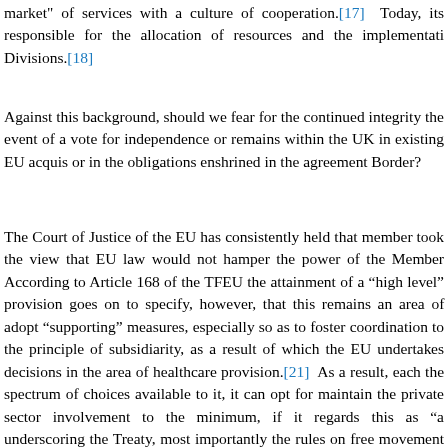market" of services with a culture of cooperation.[17]  Today, its responsible for the allocation of resources and the implementation Divisions.[18]
Against this background, should we fear for the continued integrity the event of a vote for independence or remains within the UK in existing EU acquis or in the obligations enshrined in the agreement Border?
The Court of Justice of the EU has consistently held that member took the view that EU law would not hamper the power of the Member According to Article 168 of the TFEU the attainment of a "high level" provision goes on to specify, however, that this remains an area of adopt "supporting" measures, especially so as to foster coordination to the principle of subsidiarity, as a result of which the EU undertakes decisions in the area of healthcare provision.[21]  As a result, each the spectrum of choices available to it, it can opt for maintain the private sector involvement to the minimum, if it regards this as "a underscoring the Treaty, most importantly the rules on free movement restrict the freedom of movement of persons, including their national Member State in certain circumstances if that restriction aims threatening treatment capacity level and, ultimately the survival of t